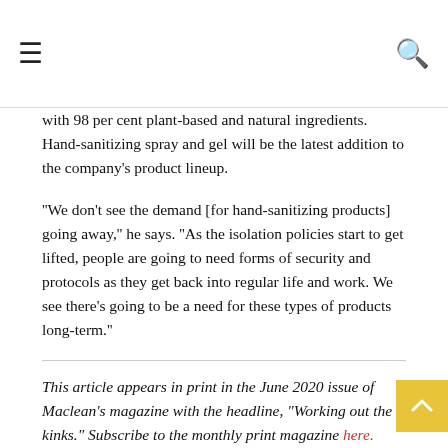≡  🔍
with 98 per cent plant-based and natural ingredients. Hand-sanitizing spray and gel will be the latest addition to the company's product lineup.
''We don't see the demand [for hand-sanitizing products] going away,'' he says. ''As the isolation policies start to get lifted, people are going to need forms of security and protocols as they get back into regular life and work. We see there's going to be a need for these types of products long-term.''
This article appears in print in the June 2020 issue of Maclean's magazine with the headline, "Working out the kinks." Subscribe to the monthly print magazine here.
The post How a hair-care company went from salon supplie… sanitizer powerhouse appeared first on Canadian Business…